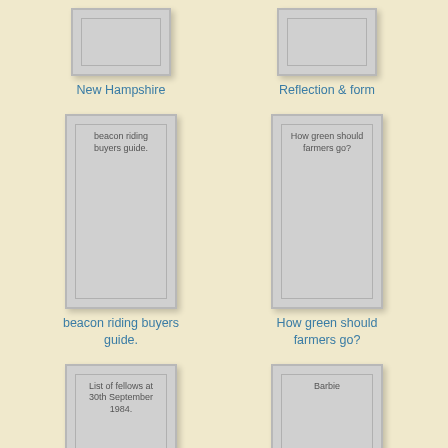[Figure (illustration): Book cover placeholder - grey rectangle, top portion visible]
New Hampshire
[Figure (illustration): Book cover placeholder - grey rectangle, top portion visible]
Reflection & form
[Figure (illustration): Book cover with inner text: beacon riding buyers guide.]
beacon riding buyers guide.
[Figure (illustration): Book cover with inner text: How green should farmers go?]
How green should farmers go?
[Figure (illustration): Book cover with inner text: List of fellows at 30th September 1984.]
[Figure (illustration): Book cover with inner text: Barbie]